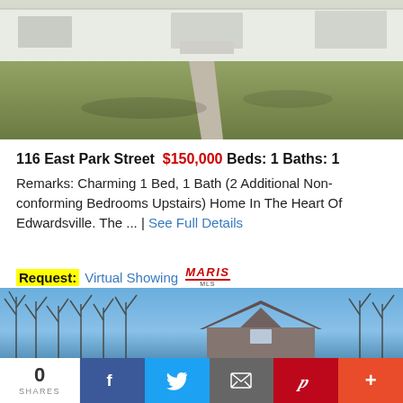[Figure (photo): Exterior photo of a single-story white house with a concrete walkway path and dry winter lawn in front]
116 East Park Street  $150,000  Beds: 1  Baths: 1
Remarks: Charming 1 Bed, 1 Bath (2 Additional Non-conforming Bedrooms Upstairs) Home In The Heart Of Edwardsville. The ... | See Full Details
Request: Virtual Showing  MARIS MLS
[Figure (photo): Exterior photo of the rooftop/gable of a gray house with bare winter trees against a blue sky in the background]
0  SHARES  f  Twitter  Email  Pinterest  +